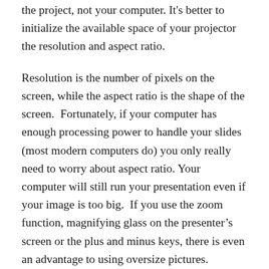the project, not your computer. It's better to initialize the available space of your projector the resolution and aspect ratio.
Resolution is the number of pixels on the screen, while the aspect ratio is the shape of the screen. Fortunately, if your computer has enough processing power to handle your slides (most modern computers do) you only really need to worry about aspect ratio. Your computer will still run your presentation even if your image is too big. If you use the zoom function, magnifying glass on the presenter’s screen or the plus and minus keys, there is even an advantage to using oversize pictures.
With regards to the aspect ratio, most projectors and